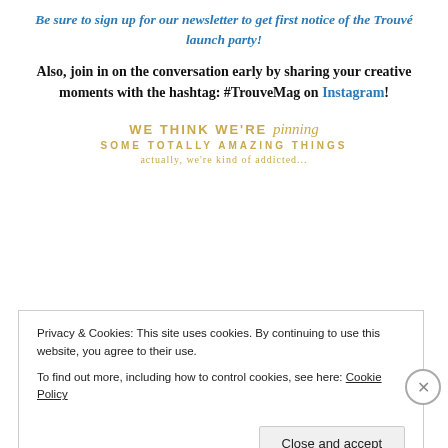Be sure to sign up for our newsletter to get first notice of the Trouvé launch party!
Also, join in on the conversation early by sharing your creative moments with the hashtag: #TrouveMag on Instagram!
[Figure (other): Decorative text graphic: WE THINK WE'RE pinning SOME TOTALLY AMAZING THINGS actually, we're kind of addicted...]
Privacy & Cookies: This site uses cookies. By continuing to use this website, you agree to their use. To find out more, including how to control cookies, see here: Cookie Policy
Close and accept